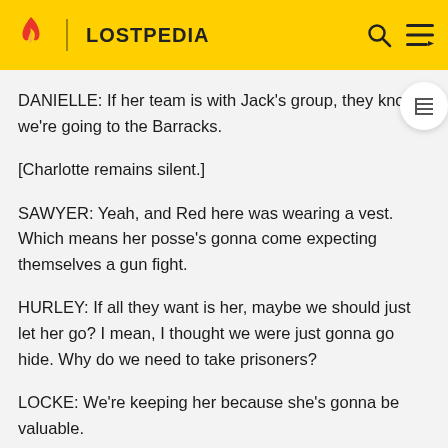LOSTPEDIA
DANIELLE: If her team is with Jack's group, they know we're going to the Barracks.
[Charlotte remains silent.]
SAWYER: Yeah, and Red here was wearing a vest. Which means her posse's gonna come expecting themselves a gun fight.
HURLEY: If all they want is her, maybe we should just let her go? I mean, I thought we were just gonna go hide. Why do we need to take prisoners?
LOCKE: We're keeping her because she's gonna be valuable.